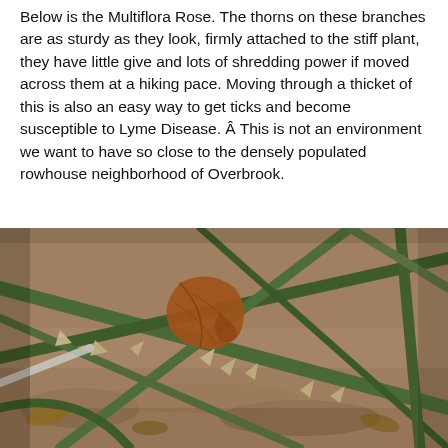Below is the Multiflora Rose. The thorns on these branches are as sturdy as they look, firmly attached to the stiff plant, they have little give and lots of shredding power if moved across them at a hiking pace. Moving through a thicket of this is also an easy way to get ticks and become susceptible to Lyme Disease. Â This is not an environment we want to have so close to the densely populated rowhouse neighborhood of Overbrook.
[Figure (photo): Close-up photograph of Multiflora Rose thorny branches with sharp thorns, tangled green stems, a dried brown leaf caught in the branches, and a blurred ground/leaf litter background. The thorny branches criss-cross in the frame showing sharp, sturdy thorns.]